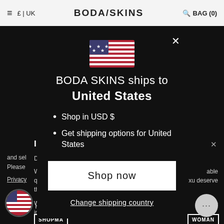≡  £ | UK    BODA/SKINS    🔍 BAG (0)
[Figure (screenshot): Boda Skins e-commerce website with dark background partially visible behind modal, showing IMPORTANT notice text and SHOPMAN / WOMAN buttons]
[Figure (infographic): US flag emoji / SVG in the modal]
BODA SKINS ships to United States
Shop in USD $
Get shipping options for United States
Shop now
Change shipping country
[Figure (illustration): US flag circle in bottom left corner]
Hello
[Figure (other): Chat bubble icon bottom right]